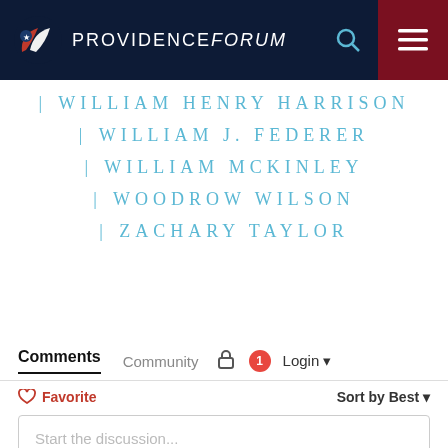PROVIDENCE forum
| WILLIAM HENRY HARRISON
| WILLIAM J. FEDERER
| WILLIAM MCKINLEY
| WOODROW WILSON
| ZACHARY TAYLOR
Comments  Community  [lock icon]  [1 badge]  Login
Favorite  Sort by Best
Start the discussion...